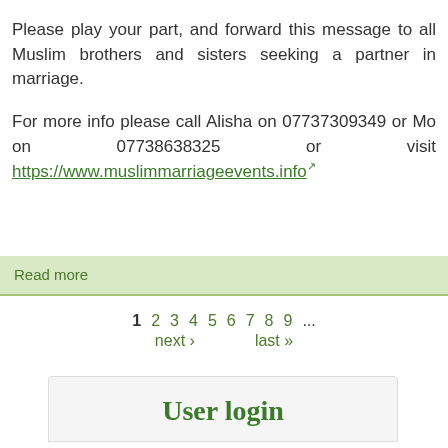Please play your part, and forward this message to all Muslim brothers and sisters seeking a partner in marriage.

For more info please call Alisha on 07737309349 or Mo on 07738638325 or visit https://www.muslimmarriageevents.info
Read more
1 2 3 4 5 next › 6 last » 7 8 9 ...
User login